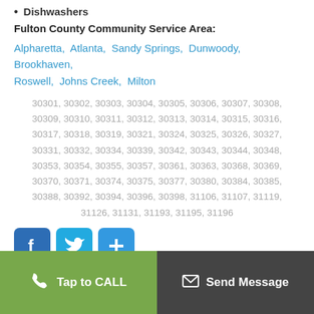Dishwashers
Fulton County Community Service Area:
Alpharetta, Atlanta, Sandy Springs, Dunwoody, Brookhaven, Roswell, Johns Creek, Milton
30301, 30302, 30303, 30304, 30305, 30306, 30307, 30308, 30309, 30310, 30311, 30312, 30313, 30314, 30315, 30316, 30317, 30318, 30319, 30321, 30324, 30325, 30326, 30327, 30331, 30332, 30334, 30339, 30342, 30343, 30344, 30348, 30353, 30354, 30355, 30357, 30361, 30363, 30368, 30369, 30370, 30371, 30374, 30375, 30377, 30380, 30384, 30385, 30388, 30392, 30394, 30396, 30398, 31106, 31107, 31119, 31126, 31131, 31193, 31195, 31196
[Figure (other): Social media icons: Facebook, Twitter, and a plus/share button]
Tap to CALL | Send Message